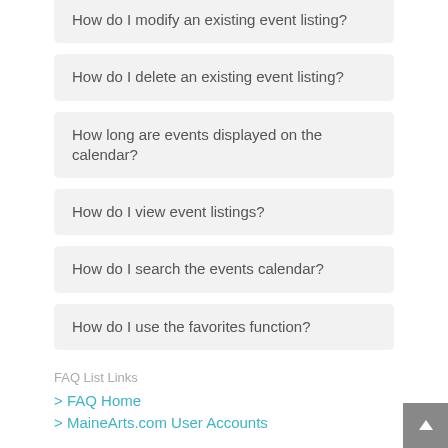How do I modify an existing event listing?
How do I delete an existing event listing?
How long are events displayed on the calendar?
How do I view event listings?
How do I search the events calendar?
How do I use the favorites function?
FAQ List Links
> FAQ Home
> MaineArts.com User Accounts